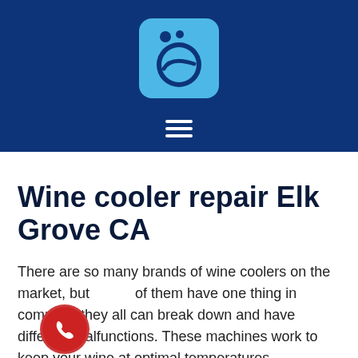[Figure (logo): Dark blue header bar with a light blue washing machine icon centered, and a white hamburger menu icon below it]
Wine cooler repair Elk Grove CA
There are so many brands of wine coolers on the market, but all of them have one thing in common: they all can break down and have different malfunctions. These machines work to keep your wine at optimal temperatures